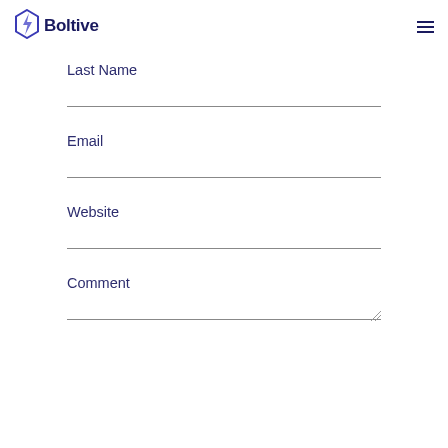Boltive
Last Name
Email
Website
Comment